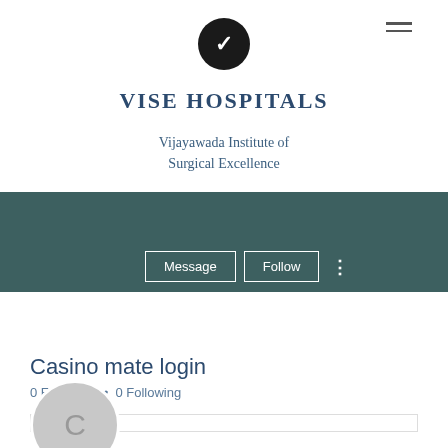[Figure (logo): Black circle logo with white V letter and hamburger menu icon]
VISE HOSPITALS
Vijayawada Institute of Surgical Excellence
[Figure (screenshot): Profile banner with dark teal background, Message and Follow buttons, and three-dot menu]
Casino mate login
0 Followers • 0 Following